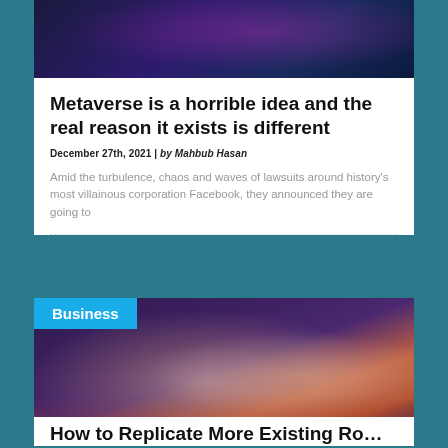[Figure (photo): Dark abstract image with purple and blue tones — top strip of a blog/article card]
Metaverse is a horrible idea and the real reason it exists is different
December 27th, 2021 | by Mahbub Hasan
Amid the turbulence, chaos and waves of lawsuits around history's most villainous corporation Facebook, they announced they are going to
[Figure (photo): Robot hand and human hand shaking hands against a dark purple/mauve background, with a cyan 'Business' label overlay in the top-left corner]
How to Replicate More Existing Ro…